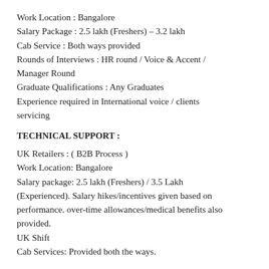Work Location : Bangalore
Salary Package : 2.5 lakh (Freshers) – 3.2 lakh
Cab Service : Both ways provided
Rounds of Interviews : HR round / Voice & Accent / Manager Round
Graduate Qualifications : Any Graduates
Experience required in International voice / clients servicing
TECHNICAL SUPPORT :
UK Retailers : ( B2B Process )
Work Location: Bangalore
Salary package: 2.5 lakh (Freshers) / 3.5 Lakh (Experienced). Salary hikes/incentives given based on performance. over-time allowances/medical benefits also provided.
UK Shift
Cab Services: Provided both the ways.